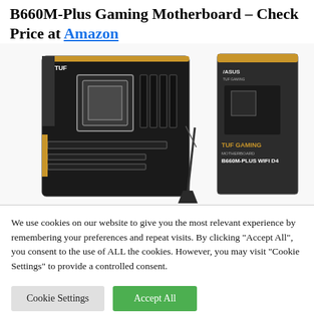B660M-Plus Gaming Motherboard – Check Price at Amazon
[Figure (photo): ASUS TUF Gaming B660M-PLUS WIFI D4 motherboard shown next to its retail box packaging. The motherboard is black with gold accents and the box shows the TUF Gaming branding with the B660M-PLUS WIFI D4 product name. A WiFi antenna accessory is also visible.]
We use cookies on our website to give you the most relevant experience by remembering your preferences and repeat visits. By clicking "Accept All", you consent to the use of ALL the cookies. However, you may visit "Cookie Settings" to provide a controlled consent.
Cookie Settings
Accept All